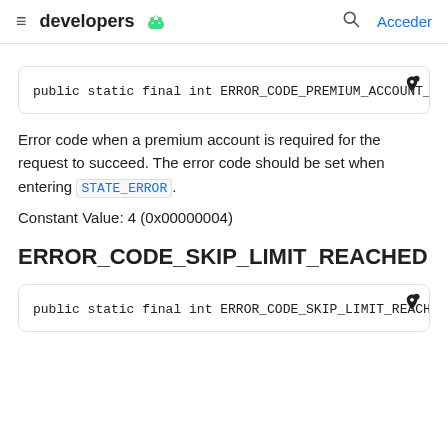developers
public static final int ERROR_CODE_PREMIUM_ACCOUNT_R
Error code when a premium account is required for the request to succeed. The error code should be set when entering STATE_ERROR.
Constant Value: 4 (0x00000004)
ERROR_CODE_SKIP_LIMIT_REACHED
public static final int ERROR_CODE_SKIP_LIMIT_REACHE